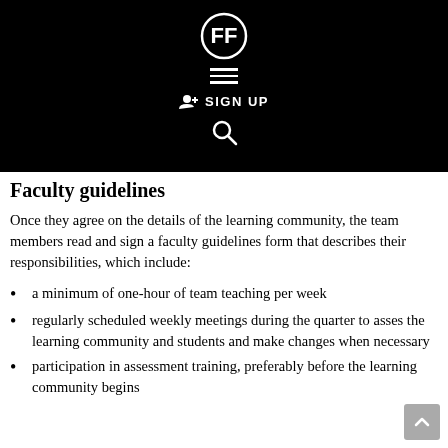[Figure (screenshot): Black navigation header bar with a stylized FF logo icon, hamburger menu lines, SIGN UP button with person icon, and a search icon]
Faculty guidelines
Once they agree on the details of the learning community, the team members read and sign a faculty guidelines form that describes their responsibilities, which include:
a minimum of one-hour of team teaching per week
regularly scheduled weekly meetings during the quarter to asses the learning community and students and make changes when necessary
participation in assessment training, preferably before the learning community begins